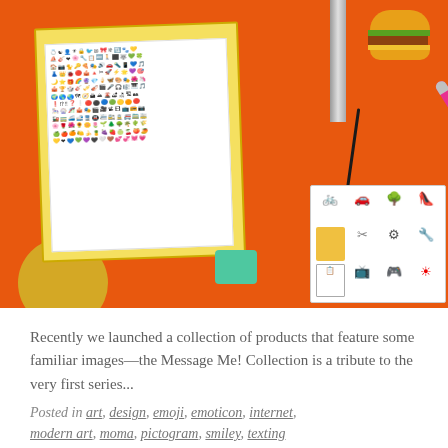[Figure (photo): Overhead photo on an orange background showing an open box/card with a grid of colorful emoji stickers inside, a microphone, a hamburger emoji prop, a pink pencil, a pink key, a sticker sheet with various icons, a green eraser, and a golden circular object.]
Recently we launched a collection of products that feature some familiar images—the Message Me! Collection is a tribute to the very first series...
Posted in art, design, emoji, emoticon, internet, modern art, moma, pictogram, smiley, texting